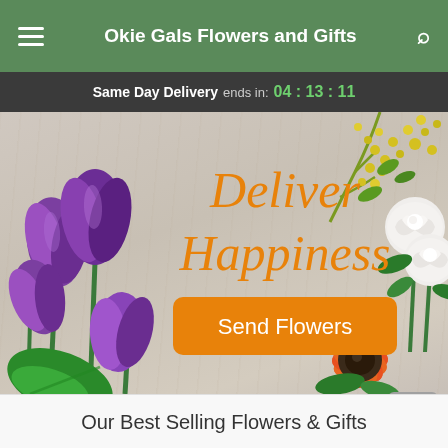Okie Gals Flowers and Gifts
Same Day Delivery ends in: 04 : 13 : 11
[Figure (illustration): Hero banner image with purple tulips on the left, yellow flowers and white roses on the right, orange gerbera daisy at bottom right, green leaf at bottom left, all arranged on a light wood background. Text reads 'Deliver Happiness' in orange italic script and an orange 'Send Flowers' button.]
Our Best Selling Flowers & Gifts